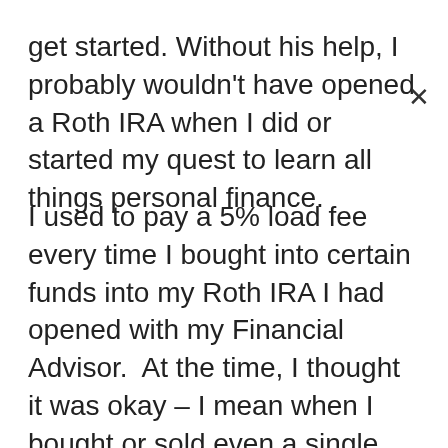get started. Without his help, I probably wouldn't have opened a Roth IRA when I did or started my quest to learn all things personal finance.
I used to pay a 5% load fee every time I bought into certain funds into my Roth IRA I had opened with my Financial Advisor.  At the time, I thought it was okay – I mean when I bought or sold even a single share at my brokerage account, I was charged for the transaction.  However, I was putting about $50 a month away into this IRA and paying a 5% fee to do so – on top of the financial advisor's fee and the fees in the funds themselves.  So expensive!  If you ever have to